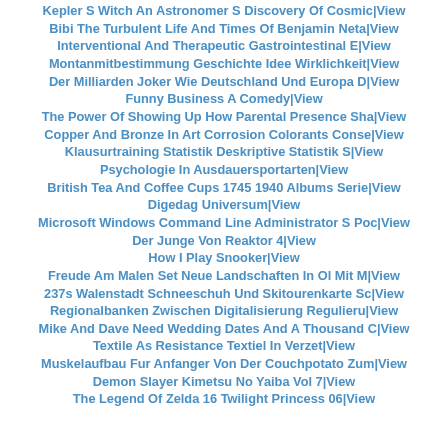Kepler S Witch An Astronomer S Discovery Of Cosmic|View
Bibi The Turbulent Life And Times Of Benjamin Neta|View
Interventional And Therapeutic Gastrointestinal E|View
Montanmitbestimmung Geschichte Idee Wirklichkeit|View
Der Milliarden Joker Wie Deutschland Und Europa D|View
Funny Business A Comedy|View
The Power Of Showing Up How Parental Presence Sha|View
Copper And Bronze In Art Corrosion Colorants Conse|View
Klausurtraining Statistik Deskriptive Statistik S|View
Psychologie In Ausdauersportarten|View
British Tea And Coffee Cups 1745 1940 Albums Serie|View
Digedag Universum|View
Microsoft Windows Command Line Administrator S Poc|View
Der Junge Von Reaktor 4|View
How I Play Snooker|View
Freude Am Malen Set Neue Landschaften In Ol Mit M|View
237s Walenstadt Schneeschuh Und Skitourenkarte Sc|View
Regionalbanken Zwischen Digitalisierung Regulieru|View
Mike And Dave Need Wedding Dates And A Thousand C|View
Textile As Resistance Textiel In Verzet|View
Muskelaufbau Fur Anfanger Von Der Couchpotato Zum|View
Demon Slayer Kimetsu No Yaiba Vol 7|View
The Legend Of Zelda 16 Twilight Princess 06|View